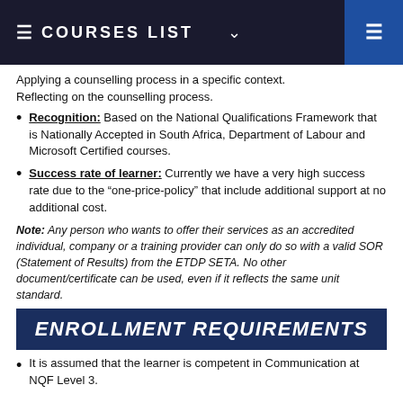COURSES LIST
Applying a counselling process in a specific context. Reflecting on the counselling process.
Recognition: Based on the National Qualifications Framework that is Nationally Accepted in South Africa, Department of Labour and Microsoft Certified courses.
Success rate of learner: Currently we have a very high success rate due to the “one-price-policy” that include additional support at no additional cost.
Note: Any person who wants to offer their services as an accredited individual, company or a training provider can only do so with a valid SOR (Statement of Results) from the ETDP SETA. No other document/certificate can be used, even if it reflects the same unit standard.
ENROLLMENT REQUIREMENTS
It is assumed that the learner is competent in Communication at NQF Level 3.